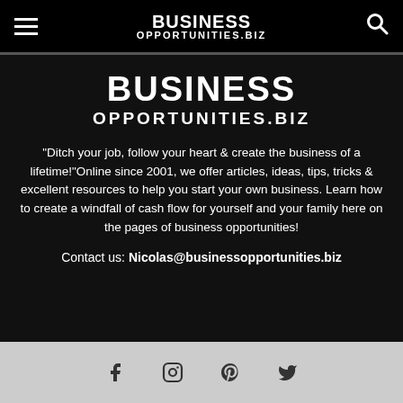BUSINESS OPPORTUNITIES.BIZ
[Figure (logo): Business Opportunities.biz logo — large centered white text on dark background: BUSINESS / OPPORTUNITIES.BIZ]
“Ditch your job, follow your heart & create the business of a lifetime!”Online since 2001, we offer articles, ideas, tips, tricks & excellent resources to help you start your own business. Learn how to create a windfall of cash flow for yourself and your family here on the pages of business opportunities!
Contact us: Nicolas@businessopportunities.biz
Social icons: Facebook, Instagram, Pinterest, Twitter